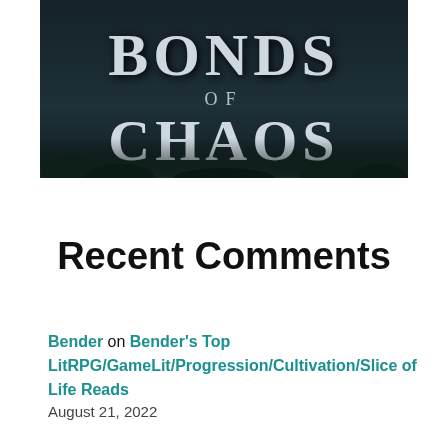[Figure (illustration): Book cover showing 'Bonds of Chaos' text in large serif font against a dark teal/navy background with misty foliage at the bottom]
Recent Comments
Bender on Bender's Top LitRPG/GameLit/Progression/Cultivation/Slice of Life Reads
August 21, 2022